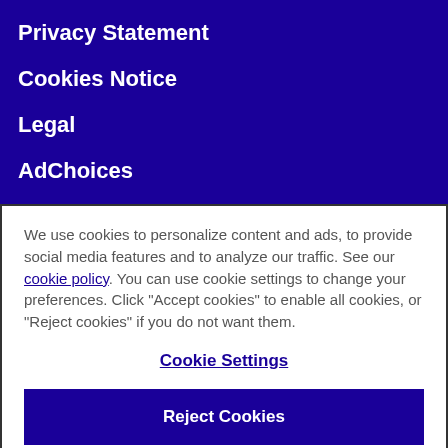Privacy Statement
Cookies Notice
Legal
AdChoices
We use cookies to personalize content and ads, to provide social media features and to analyze our traffic. See our cookie policy. You can use cookie settings to change your preferences. Click "Accept cookies" to enable all cookies, or "Reject cookies" if you do not want them.
Cookie Settings
Reject Cookies
Accept Cookies